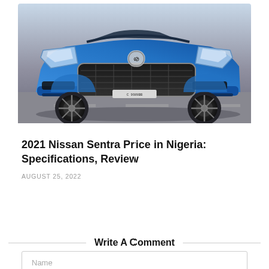[Figure (photo): Front view of a blue Nissan Sentra car on a road, showing the grille, headlights, and front bumper.]
2021 Nissan Sentra Price in Nigeria: Specifications, Review
AUGUST 25, 2022
Write A Comment
Name